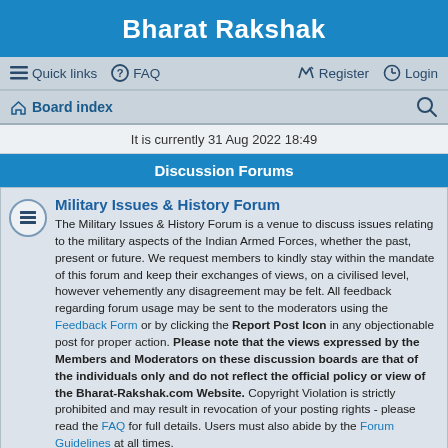Bharat Rakshak
Quick links  FAQ  Register  Login
Board index
It is currently 31 Aug 2022 18:49
Discussion Forums
Military Issues & History Forum
The Military Issues & History Forum is a venue to discuss issues relating to the military aspects of the Indian Armed Forces, whether the past, present or future. We request members to kindly stay within the mandate of this forum and keep their exchanges of views, on a civilised level, however vehemently any disagreement may be felt. All feedback regarding forum usage may be sent to the moderators using the Feedback Form or by clicking the Report Post Icon in any objectionable post for proper action. Please note that the views expressed by the Members and Moderators on these discussion boards are that of the individuals only and do not reflect the official policy or view of the Bharat-Rakshak.com Website. Copyright Violation is strictly prohibited and may result in revocation of your posting rights - please read the FAQ for full details. Users must also abide by the Forum Guidelines at all times.
Topics: 219
Strategic Issues & International Relations Forum
The Strategic Issues & International Relations Forum is a venue to discuss issues pertaining to India's security environment, her strategic outlook on global affairs and as well as the effect of international relations in the Indian Subcontinent. We request members to kindly stay within the mandate of this forum and keep their exchanges of views, on a civilised level, however vehemently any disagreement may be felt. All feedback regarding forum usage may be sent to the moderators using the Feedback Form or by clicking the